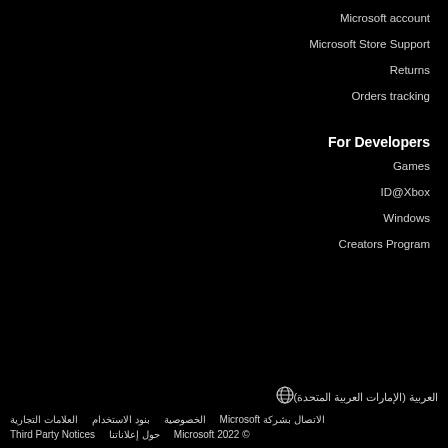Microsoft account
Microsoft Store Support
Returns
Orders tracking
For Developers
Games
ID@Xbox
Windows
Creators Program
العربية (الإمارات العربية المتحدة)
الاتصال بشركة Microsoft  الخصوصية  بنود الاستخدام  العلامات التجارية  Third Party Notices  حول إعلاناتنا  © 2022 Microsoft